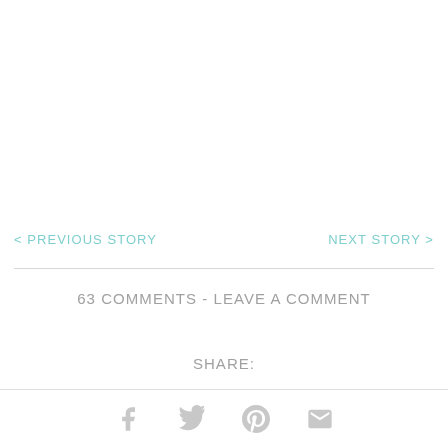< PREVIOUS STORY
NEXT STORY >
63 COMMENTS - LEAVE A COMMENT
SHARE:
[Figure (illustration): Social sharing icons: Facebook, Twitter, Pinterest, Email]